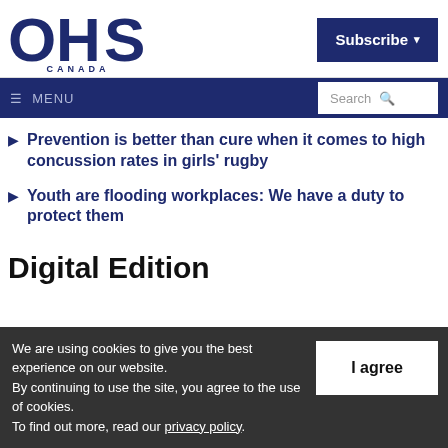OHS CANADA — Subscribe
MENU | Search
Prevention is better than cure when it comes to high concussion rates in girls' rugby
Youth are flooding workplaces: We have a duty to protect them
Digital Edition
We are using cookies to give you the best experience on our website. By continuing to use the site, you agree to the use of cookies. To find out more, read our privacy policy.